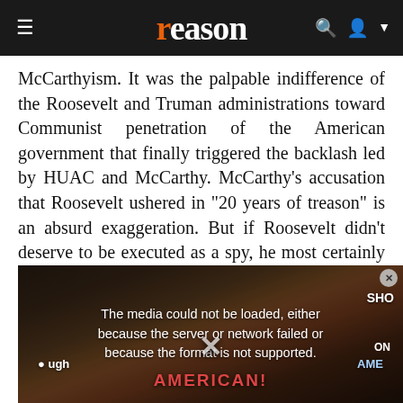reason
McCarthyism. It was the palpable indifference of the Roosevelt and Truman administrations toward Communist penetration of the American government that finally triggered the backlash led by HUAC and McCarthy. McCarthy's accusation that Roosevelt ushered in "20 years of treason" is an absurd exaggeration. But if Roosevelt didn't deserve to be executed as a spy, he most certainly ought to have been horsewhipped for his cavalier dismissal of Whittaker Chambers' accusations. As early as 1939, Chambers [text continues behind overlay] named at least [text continues behind overlay] proved Soviet s[text continues behind overlay] Chambers could[text continues behind overlay] secrets to Mosc[text continues behind overlay] began making n[text continues behind overlay] was only one of several by regretful spies during that
[Figure (screenshot): Video player overlay showing a media error message: 'The media could not be loaded, either because the server or network failed or because the format is not supported.' with an X close button and a large X dismiss icon, overlaying a protest photo with banners reading 'AMERICAN!' and other partially visible text.]